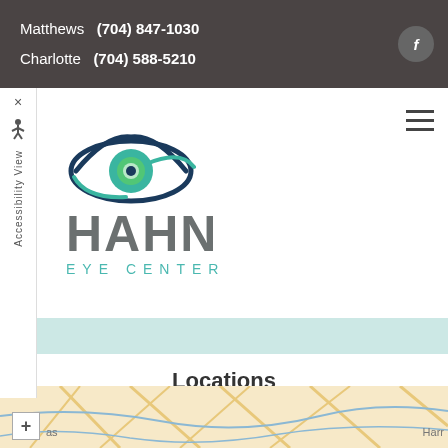Matthews  (704) 847-1030
Charlotte  (704) 588-5210
[Figure (logo): Hahn Eye Center logo with stylized eye graphic in teal and dark blue, and text 'HAHN EYE CENTER']
Locations
Find us on the map
[Figure (map): Partial street map showing road intersections near Matthews/Charlotte NC area with zoom control and road labels. Labels visible: 'as', 'Harr']